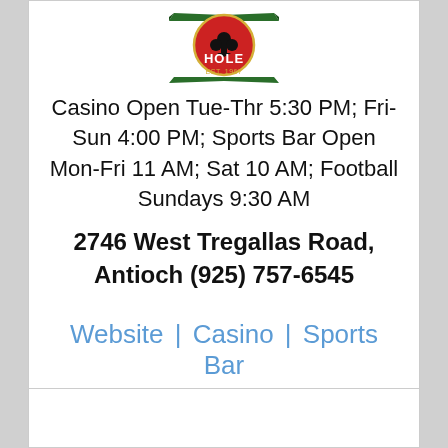[Figure (logo): Card club logo with text HOLE EST. 1967, featuring a club card suit symbol and decorative banner]
Casino Open Tue-Thr 5:30 PM; Fri-Sun 4:00 PM; Sports Bar Open Mon-Fri 11 AM; Sat 10 AM; Football Sundays 9:30 AM
2746 West Tregallas Road, Antioch (925) 757-6545
Website | Casino | Sports Bar